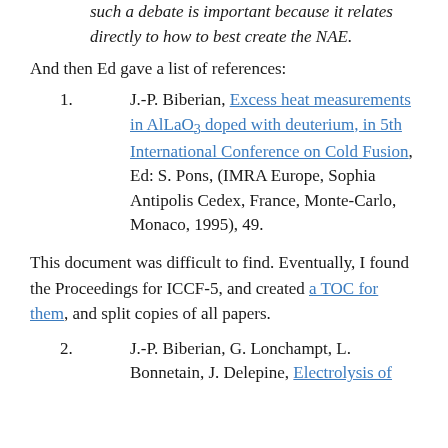such a debate is important because it relates directly to how to best create the NAE.
And then Ed gave a list of references:
1. J.-P. Biberian, Excess heat measurements in AlLaO3 doped with deuterium, in 5th International Conference on Cold Fusion, Ed: S. Pons, (IMRA Europe, Sophia Antipolis Cedex, France, Monte-Carlo, Monaco, 1995), 49.
This document was difficult to find. Eventually, I found the Proceedings for ICCF-5, and created a TOC for them, and split copies of all papers.
2. J.-P. Biberian, G. Lonchampt, L. Bonnetain, J. Delepine, Electrolysis of